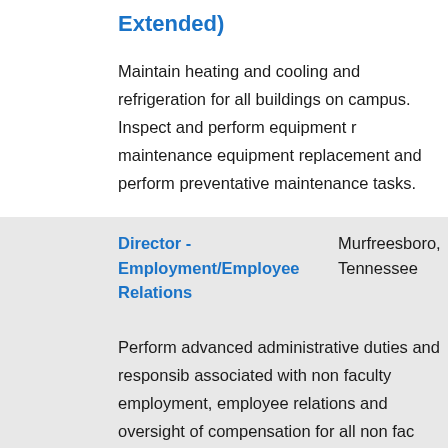Extended)
Maintain heating and cooling and refrigeration for all buildings on campus. Inspect and perform equipment replacement and perform preventative maintenance tasks.
Director - Employment/Employee Relations
Murfreesboro, Tennessee
09/30/
Perform advanced administrative duties and responsibilities associated with non faculty employment, employee relations and oversight of compensation for all non faculty positions. Counsel and provide guidance to University Administrators with regard to complex human resource employee relations issues, counsel employees on w...